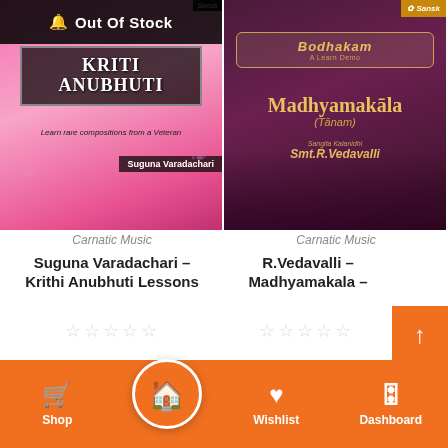[Figure (screenshot): Book cover for Kriti Anubhuti by Suguna Varadachari with pink background, showing the artist seated with a veena. Has 'Out Of Stock' banner at top and text 'Learn rare compositions from a Veteran'.]
Carnatic Music
Suguna Varadachari – Krithi Anubhuti Lessons
[Figure (screenshot): Album cover for Madhyamakala (Tanam) by Smt. R. Vedavalli on dark maroon background. Features Bodhakam logo and Sanskriti badge. Shows artist portrait.]
Carnatic Music
R.Vedavalli – Madhyamakala –
Shop  Home  Wishlist  Dashboard